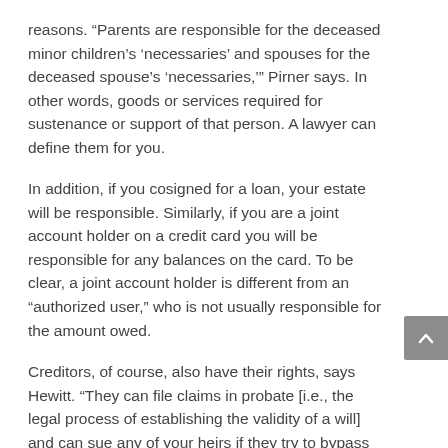reasons. “Parents are responsible for the deceased minor children’s ‘necessaries’ and spouses for the deceased spouse’s ‘necessaries,’” Pirner says. In other words, goods or services required for sustenance or support of that person. A lawyer can define them for you.
In addition, if you cosigned for a loan, your estate will be responsible. Similarly, if you are a joint account holder on a credit card you will be responsible for any balances on the card. To be clear, a joint account holder is different from an “authorized user,” who is not usually responsible for the amount owed.
Creditors, of course, also have their rights, says Hewitt. “They can file claims in probate [i.e., the legal process of establishing the validity of a will] and can sue any of your heirs if they try to bypass the probate process.”